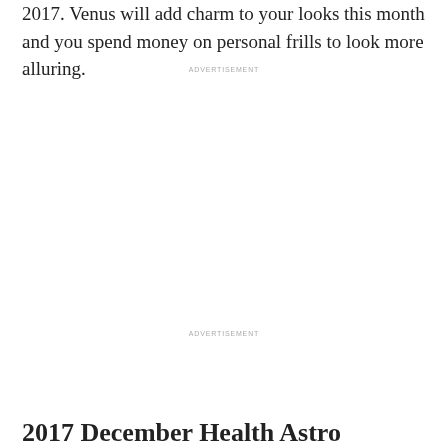2017. Venus will add charm to your looks this month and you spend money on personal frills to look more alluring.
ADVERTISEMENT
ADVERTISEMENT
2017 December Health Astrology